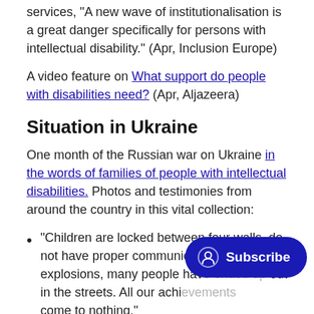services, "A new wave of institutionalisation is a great danger specifically for persons with intellectual disability." (Apr, Inclusion Europe)
A video feature on What support do people with disabilities need? (Apr, Aljazeera)
Situation in Ukraine
One month of the Russian war on Ukraine in the words of families of people with intellectual disabilities. Photos and testimonies from around the country in this vital collection:
“Children are locked between four walls, do not have proper communication. After the explosions, many people hav[e ended] out in the streets. All our achi[evements] come to nothing.”